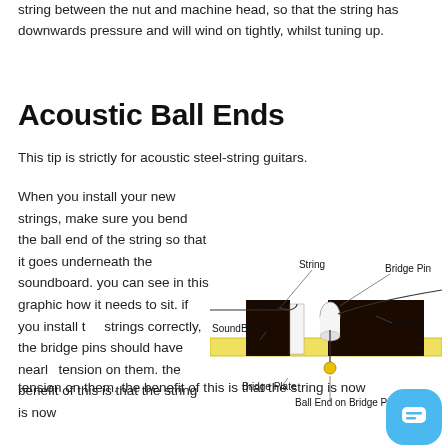string between the nut and machine head, so that the string has downwards pressure and will wind on tightly, whilst tuning up.
Acoustic Ball Ends
This tip is strictly for acoustic steel-string guitars.
When you install your new strings, make sure you bend the ball end of the string so that it goes underneath the soundboard. you can see in this graphic how it needs to sit. if you install the strings correctly, the bridge pins should have nearly no tension on them. the benefit of this is that the string is now
[Figure (engineering-diagram): Cross-section diagram of acoustic guitar bridge showing String, Bridge Pin, Saddle, SoundBoard, Bridge, Bridge Plate, and Ball End on Bridge Plate labels with arrows pointing to each component.]